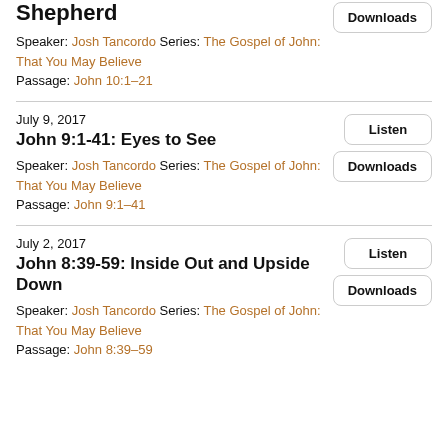Shepherd
Speaker: Josh Tancordo Series: The Gospel of John: That You May Believe
Passage: John 10:1–21
Downloads
July 9, 2017
John 9:1-41: Eyes to See
Speaker: Josh Tancordo Series: The Gospel of John: That You May Believe
Passage: John 9:1–41
Listen
Downloads
July 2, 2017
John 8:39-59: Inside Out and Upside Down
Speaker: Josh Tancordo Series: The Gospel of John: That You May Believe
Passage: John 8:39–59
Listen
Downloads